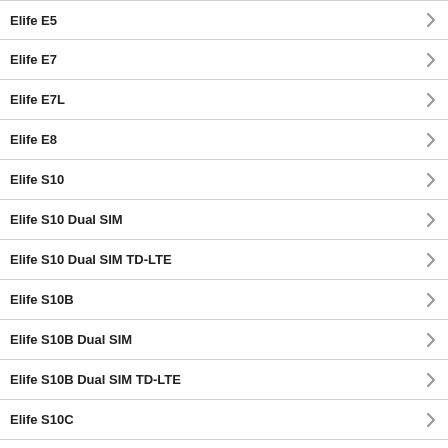Elife E5
Elife E7
Elife E7L
Elife E8
Elife S10
Elife S10 Dual SIM
Elife S10 Dual SIM TD-LTE
Elife S10B
Elife S10B Dual SIM
Elife S10B Dual SIM TD-LTE
Elife S10C